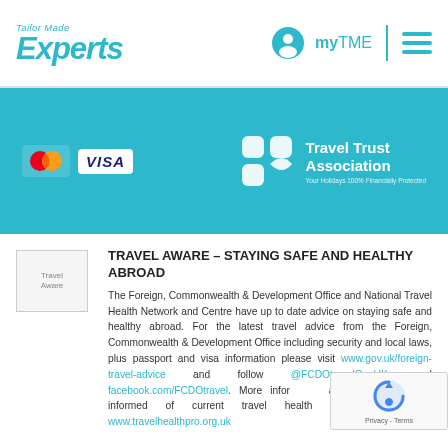Tailor Made Experts — myTME navigation header
[Figure (infographic): Teal banner with Mastercard and Visa payment logos on the left, Travel Trust Association logo on the right on teal background]
[Figure (logo): Travel Aware logo image placeholder]
TRAVEL AWARE – STAYING SAFE AND HEALTHY ABROAD
The Foreign, Commonwealth & Development Office and National Travel Health Network and Centre have up to date advice on staying safe and healthy abroad. For the latest travel advice from the Foreign, Commonwealth & Development Office including security and local laws, plus passport and visa information please visit www.gov.uk/foreign-travel-advice and follow @FCDOtravelGovUK and facebook.com/FCDOtravel. More information available here. Keep informed of current travel health news by visiting www.travelhealthpro.org.uk